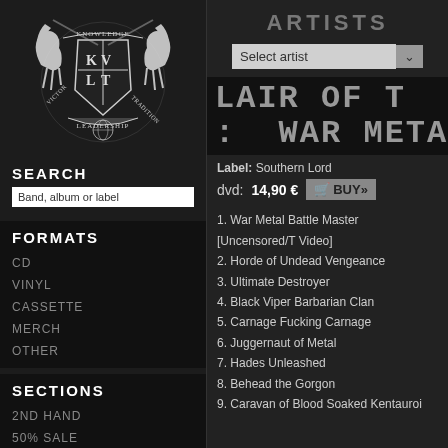[Figure (logo): KVLT heraldic crest logo with horses, shield, and banners reading Knowledge, Victor, Leadership, Tradition]
SEARCH
Band, album or label
FORMATS
CD
VINYL
CASSETTE
MERCH
OTHER
SECTIONS
2ND HAND
50% SALE
ARTISTS
Select artist
LAIR OF T : War Metal
Label: Southern Lord
dvd: 14,90 € BUY»
1. War Metal Battle Master [Uncensored/T Video]
2. Horde of Undead Vengeance
3. Ultimate Destroyer
4. Black Viper Barbarian Clan
5. Carnage Fucking Carnage
6. Juggernaut of Metal
7. Hades Unleashed
8. Behead the Gorgon
9. Caravan of Blood Soaked Kentauroi